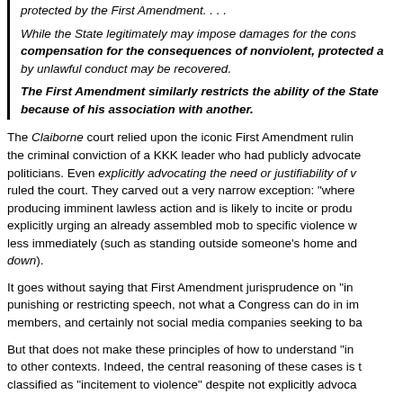protected by the First Amendment. . . .
While the State legitimately may impose damages for the consequences of nonviolent, protected activity, compensation for the consequences of nonviolent, protected activity, no damages—even those caused by unlawful conduct may be recovered.
The First Amendment similarly restricts the ability of the State because of his association with another.
The Claiborne court relied upon the iconic First Amendment ruling the criminal conviction of a KKK leader who had publicly advocated politicians. Even explicitly advocating the need or justifiability of ruled the court. They carved out a very narrow exception: "where producing imminent lawless action and is likely to incite or produce explicitly urging an already assembled mob to specific violence less immediately (such as standing outside someone's home and down).
It goes without saying that First Amendment jurisprudence on "in punishing or restricting speech, not what a Congress can do in members, and certainly not social media companies seeking to ba
But that does not make these principles of how to understand "in to other contexts. Indeed, the central reasoning of these cases is classified as "incitement to violence" despite not explicitly advoca